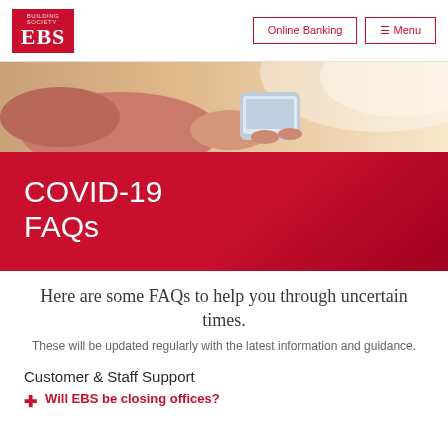EBS | Online Banking | Menu
[Figure (photo): Close-up photo of a person in a pink/salmon top holding a smartphone, warm sunlit background.]
COVID-19 FAQs
Here are some FAQs to help you through uncertain times.
These will be updated regularly with the latest information and guidance.
Customer & Staff Support
Will EBS be closing offices?